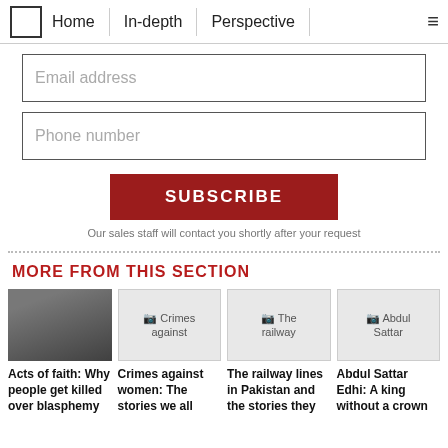Home | In-depth | Perspective
Email address
Phone number
SUBSCRIBE
Our sales staff will contact you shortly after your request
MORE FROM THIS SECTION
[Figure (photo): Crowd scene, acts of faith article thumbnail]
Acts of faith: Why people get killed over blasphemy
[Figure (photo): Crimes against women article thumbnail placeholder]
Crimes against women: The stories we all
[Figure (photo): The railway article thumbnail placeholder]
The railway lines in Pakistan and the stories they
[Figure (photo): Abdul Sattar article thumbnail placeholder]
Abdul Sattar Edhi: A king without a crown